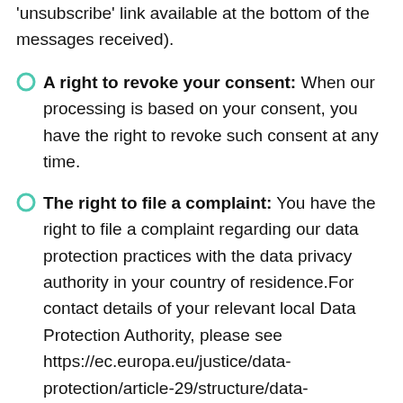'unsubscribe' link available at the bottom of the messages received).
A right to revoke your consent: When our processing is based on your consent, you have the right to revoke such consent at any time.
The right to file a complaint: You have the right to file a complaint regarding our data protection practices with the data privacy authority in your country of residence.For contact details of your relevant local Data Protection Authority, please see https://ec.europa.eu/justice/data-protection/article-29/structure/data-protection-authorities/index_en.htm.